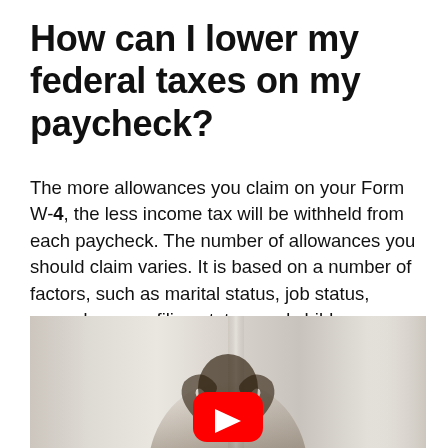How can I lower my federal taxes on my paycheck?
The more allowances you claim on your Form W-4, the less income tax will be withheld from each paycheck. The number of allowances you should claim varies. It is based on a number of factors, such as marital status, job status, earned wages, filing status, and child or dependent care expenses.
[Figure (photo): A woman sitting at a desk holding her head with both hands, with a YouTube play button overlay in the center, suggesting a video thumbnail. Background shows windows and a light interior.]